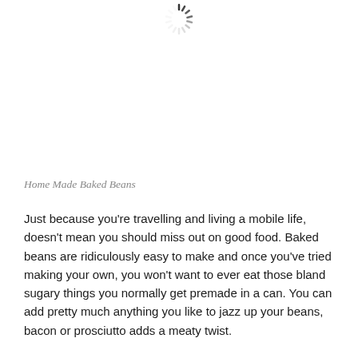[Figure (other): Loading spinner icon at top center of page]
Home Made Baked Beans
Just because you're travelling and living a mobile life, doesn't mean you should miss out on good food. Baked beans are ridiculously easy to make and once you've tried making your own, you won't want to ever eat those bland sugary things you normally get premade in a can. You can add pretty much anything you like to jazz up your beans, bacon or prosciutto adds a meaty twist.